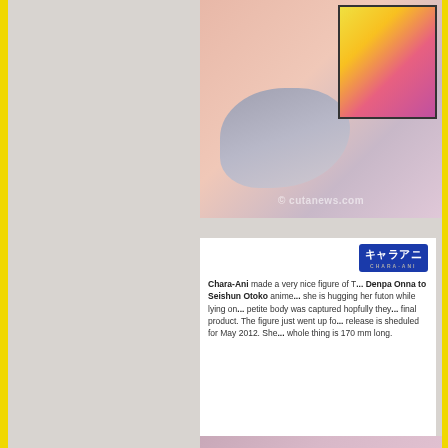[Figure (photo): Anime figure photo showing a grey futon/figure shape with a small anime character inset image in top right corner. Watermark reads '© cutanews.com']
[Figure (logo): Chara-Ani logo in blue with Japanese characters キャラアニ]
Chara-Ani made a very nice figure of T... Denpa Onna to Seishun Otoko anime... she is hugging her futon while lying on... petite body was captured hopfully they... final product. The figure just went up fo... release is sheduled for May 2012. She... whole thing is 170 mm long.
[Figure (photo): Partial anime figure photo at bottom, pink/purple tones]